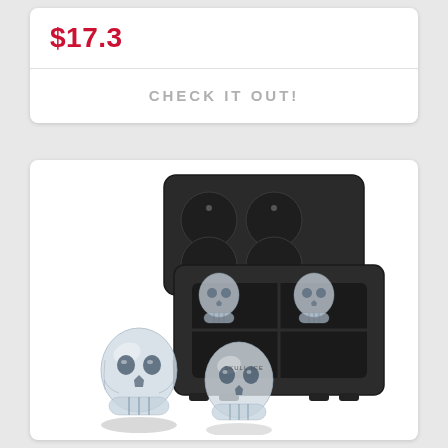$17.3
CHECK IT OUT!
[Figure (photo): Black silicone skull ice cube mold tray with transparent crystal skull-shaped ice cubes displayed in front of it]